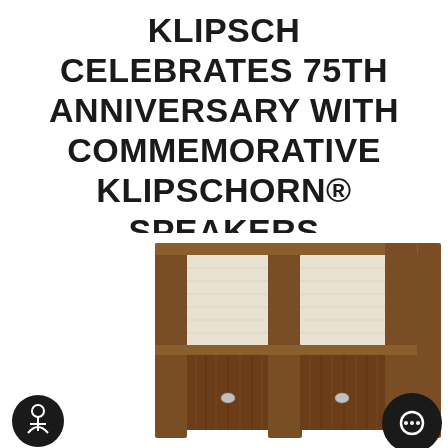KLIPSCH CELEBRATES 75TH ANNIVERSARY WITH COMMEMORATIVE KLIPSCHORN® SPEAKERS
[Figure (photo): Two Klipschorn 75th anniversary edition speakers side by side, showing walnut wood cabinet with cream/white grille cloth panels, corner speaker design, with small metallic badge on each unit]